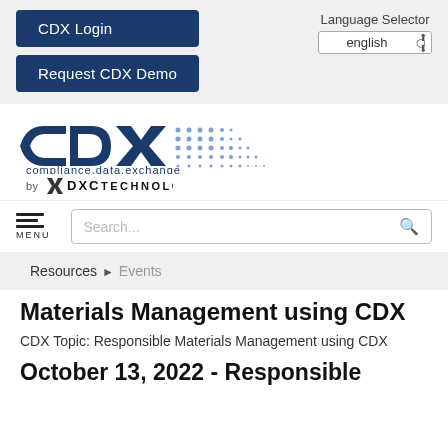[Figure (other): CDX Login button and Request CDX Demo button on gray background, with Language Selector dropdown showing english]
[Figure (logo): CDX compliance.data.exchange logo with DXC Technology branding below]
[Figure (other): Navigation bar with hamburger MENU icon and Search input box]
Resources ▶ Events
Materials Management using CDX
CDX Topic: Responsible Materials Management using CDX
October 13, 2022 - Responsible